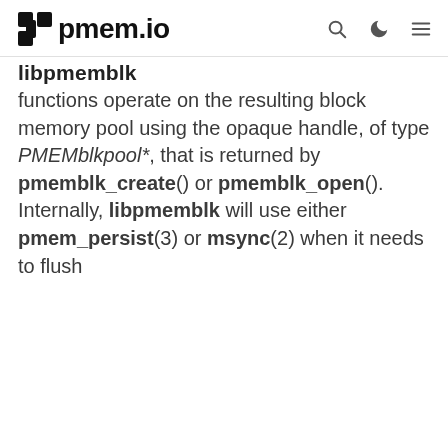pmem.io
libpmemblk
functions operate on the resulting block memory pool using the opaque handle, of type PMEMblkpool*, that is returned by pmemblk_create() or pmemblk_open(). Internally, libpmemblk will use either pmem_persist(3) or msync(2) when it needs to flush